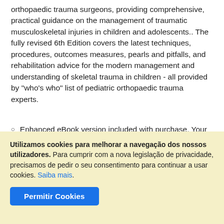orthopaedic trauma surgeons, providing comprehensive, practical guidance on the management of traumatic musculoskeletal injuries in children and adolescents.. The fully revised 6th Edition covers the latest techniques, procedures, outcomes measures, pearls and pitfalls, and rehabilitation advice for the modern management and understanding of skeletal trauma in children - all provided by "who's who" list of pediatric orthopaedic trauma experts.
Enhanced eBook version included with purchase. Your enhanced eBooks allows you to access all of the text, figures, and references from the book on a variety of devices.
Utilizamos cookies para melhorar a navegação dos nossos utilizadores. Para cumprir com a nova legislação de privacidade, precisamos de pedir o seu consentimento para continuar a usar cookies. Saiba mais.
Permitir Cookies